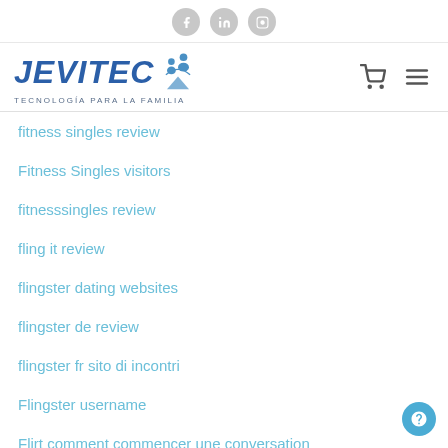JEVITEC - TECNOLOGÍA PARA LA FAMILIA
fitness singles review
Fitness Singles visitors
fitnesssingles review
fling it review
flingster dating websites
flingster de review
flingster fr sito di incontri
Flingster username
Flirt comment commencer une conversation